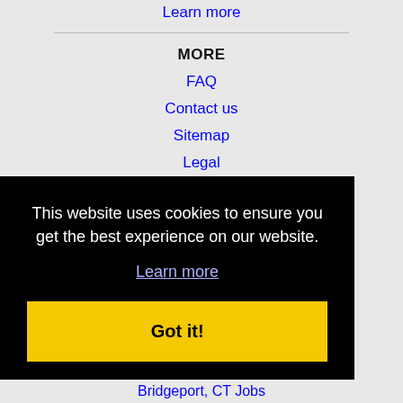Learn more
MORE
FAQ
Contact us
Sitemap
Legal
Privacy
This website uses cookies to ensure you get the best experience on our website.
Learn more
Got it!
Bridgeport, CT Jobs